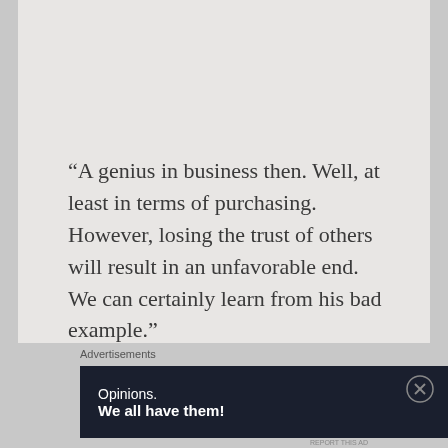“A genius in business then. Well, at least in terms of purchasing. However, losing the trust of others will result in an unfavorable end. We can certainly learn from his bad example.”
Advertisements
[Figure (infographic): Dark navy advertisement banner for WordPress/Blog.com reading 'Opinions. We all have them!' with WordPress and Blog.com logos on the right.]